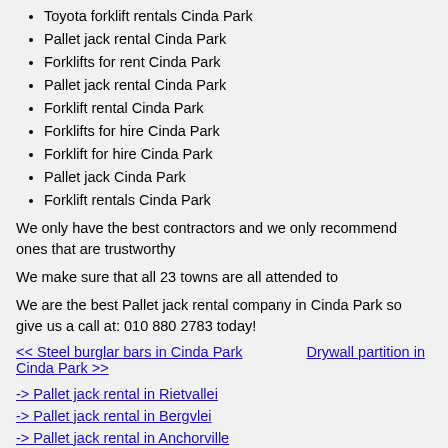Toyota forklift rentals Cinda Park
Pallet jack rental Cinda Park
Forklifts for rent Cinda Park
Pallet jack rental Cinda Park
Forklift rental Cinda Park
Forklifts for hire Cinda Park
Forklift for hire Cinda Park
Pallet jack Cinda Park
Forklift rentals Cinda Park
We only have the best contractors and we only recommend ones that are trustworthy
We make sure that all 23 towns are all attended to
We are the best Pallet jack rental company in Cinda Park so give us a call at: 010 880 2783 today!
<< Steel burglar bars in Cinda Park    Drywall partition in Cinda Park >>
-> Pallet jack rental in Rietvallei
-> Pallet jack rental in Bergvlei
-> Pallet jack rental in Anchorville
-> Pallet jack rental in Rietfontein
-> Pallet jack rental in Dainfern Golf Estate
-> Pallet jack rental in Copperleaf Estate
-> Pallet jack rental in River Ridge